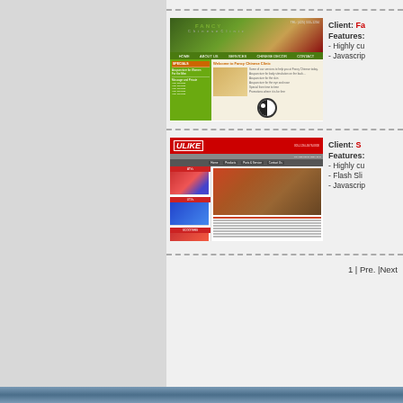[Figure (screenshot): Fancy Chinese Clinic website screenshot with green/brown header, navigation bar, sidebar, and yin-yang symbol]
Client: Fa...
Features:
- Highly cu...
- Javascrip...
[Figure (screenshot): ULIKE ATV website screenshot with red header, product images of ATVs]
Client: S...
Features:
- Highly cu...
- Flash Sli...
- Javascrip...
1 | Pre. |Next